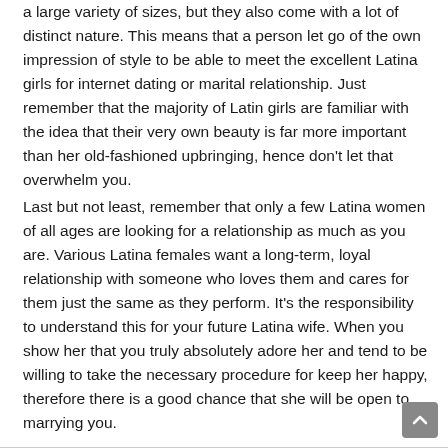a large variety of sizes, but they also come with a lot of distinct nature. This means that a person let go of the own impression of style to be able to meet the excellent Latina girls for internet dating or marital relationship. Just remember that the majority of Latin girls are familiar with the idea that their very own beauty is far more important than her old-fashioned upbringing, hence don't let that overwhelm you.
Last but not least, remember that only a few Latina women of all ages are looking for a relationship as much as you are. Various Latina females want a long-term, loyal relationship with someone who loves them and cares for them just the same as they perform. It's the responsibility to understand this for your future Latina wife. When you show her that you truly absolutely adore her and tend to be willing to take the necessary procedure for keep her happy, therefore there is a good chance that she will be open to marrying you.